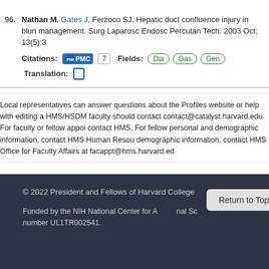96. Nathan M, Gates J, Ferzoco SJ. Hepatic duct confluence injury in blunt management. Surg Laparosc Endosc Percutan Tech. 2003 Oct; 13(5):3 Citations: PMC 7 Fields: Dia Gas Gen Translation:
Local representatives can answer questions about the Profiles website or help with editing a HMS/HSDM faculty should contact contact@catalyst.harvard.edu. For faculty or fellow appoi contact HMS. For fellow personal and demographic information, contact HMS Human Resou demographic information, contact HMS Office for Faculty Affairs at facappt@hms.harvard.ed
© 2022 President and Fellows of Harvard College
Funded by the NIH National Center for A___ nal Sc number UL1TR002541.